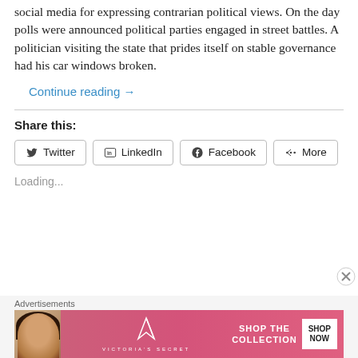social media for expressing contrarian political views. On the day polls were announced political parties engaged in street battles. A politician visiting the state that prides itself on stable governance had his car windows broken.
Continue reading →
Share this:
Twitter  LinkedIn  Facebook  More
Loading...
Advertisements
[Figure (photo): Victoria's Secret advertisement banner with model, VS logo, 'SHOP THE COLLECTION' text and 'SHOP NOW' button]